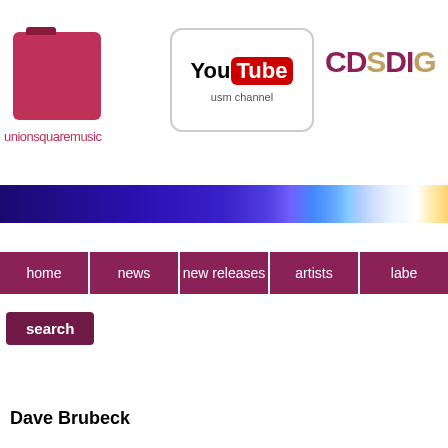[Figure (logo): Union Square Music logo with pink square icon and text 'unionsquaremusic']
[Figure (logo): YouTube logo with 'You' in black and 'Tube' in red rounded rectangle, subtitle 'usm channel']
[Figure (logo): CDS DIG logo in dark pink and gold/tan colors, partially cropped]
[Figure (illustration): Blue to white gradient banner with glowing blue light effects]
home | news | new releases | artists | labe
search
Dave Brubeck